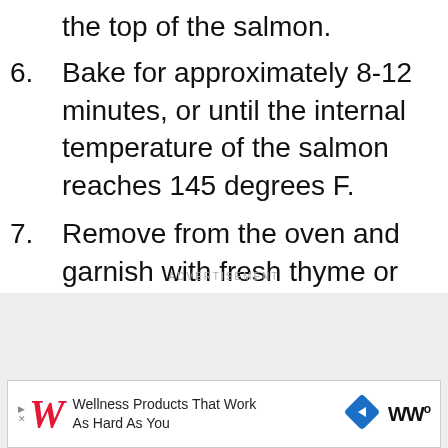the top of the salmon.
6. Bake for approximately 8-12 minutes, or until the internal temperature of the salmon reaches 145 degrees F.
7. Remove from the oven and garnish with fresh thyme or chopped parsley, if desired.
ADVERTISEMENT
[Figure (other): Walgreens advertisement banner: Wellness Products That Work As Hard As You]